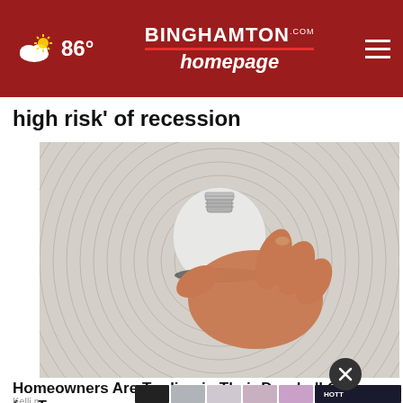86° | BINGHAMTON homepage .com
high risk' of recession
[Figure (photo): A hand holding a white light bulb against a circular textured background]
Homeowners Are Trading in Their Doorbell Cams for T
Kelli n